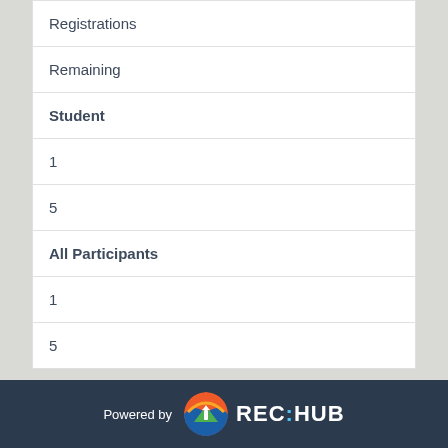| Registrations | Remaining |
| --- | --- |
| Student |  |
| 1 |  |
| 5 |  |
| All Participants |  |
| 1 |  |
| 5 |  |
Powered by REC:HUB